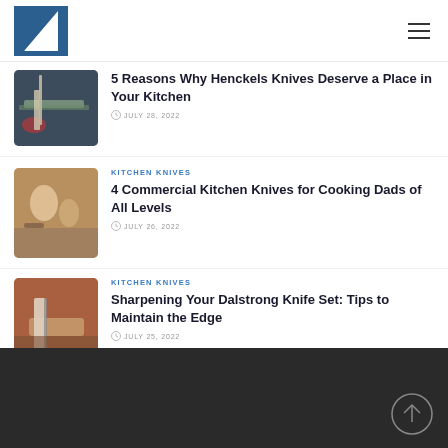Logo and navigation menu
[Figure (photo): Hands cutting meat on a wooden cutting board with a knife]
5 Reasons Why Henckels Knives Deserve a Place in Your Kitchen
JULY 28, 2022
KITCHEN KNIVES
[Figure (photo): Parent and child cooking together in a kitchen]
4 Commercial Kitchen Knives for Cooking Dads of All Levels
JULY 26, 2022
KITCHEN KNIVES
[Figure (photo): Hands sharpening a knife on a whetstone]
Sharpening Your Dalstrong Knife Set: Tips to Maintain the Edge
JULY 25, 2022